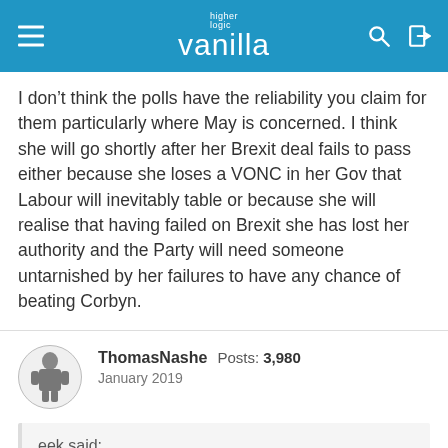higher logic vanilla
I don't think the polls have the reliability you claim for them particularly where May is concerned. I think she will go shortly after her Brexit deal fails to pass either because she loses a VONC in her Gov that Labour will inevitably table or because she will realise that having failed on Brexit she has lost her authority and the Party will need someone untarnished by her failures to have any chance of beating Corbyn.
ThomasNashe  Posts: 3,980
January 2019
eek said:
https://twitter.com/aljwhite/status/1080051098508017669